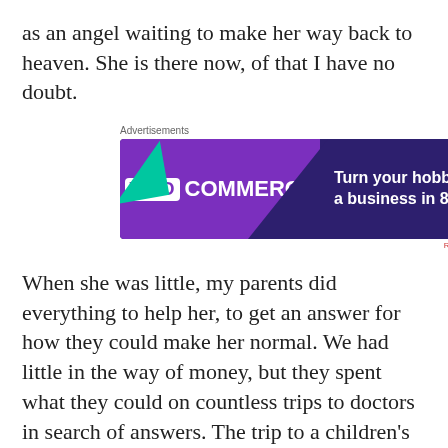as an angel waiting to make her way back to heaven. She is there now, of that I have no doubt.
[Figure (screenshot): WooCommerce advertisement banner: 'Turn your hobby into a business in 8 steps' on dark purple background with colorful geometric shapes]
When she was little, my parents did everything to help her, to get an answer for how they could make her normal. We had little in the way of money, but they spent what they could on countless trips to doctors in search of answers. The trip to a children's hospital in Hot Springs, NM (Truth or Consequences), was the last straw for my dad. When they came out